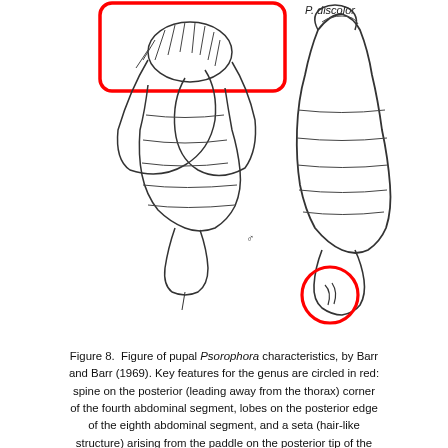[Figure (illustration): Illustration of pupal Psorophora characteristics showing two views of the pupa. Left view has a red rectangle highlighting the head/thorax area. Right view (labeled P. discolor at top) has a red circle highlighting a specific feature on a lobe. Small male symbol shown between the two figures.]
Figure 8.  Figure of pupal Psorophora characteristics, by Barr and Barr (1969). Key features for the genus are circled in red: spine on the posterior (leading away from the thorax) corner of the fourth abdominal segment, lobes on the posterior edge of the eighth abdominal segment, and a seta (hair-like structure) arising from the paddle on the posterior tip of the pupa.
LARVAE
Larvae of Psorophora columbiae are typically large in size but vary in color from pale white to black and shades of gray or brown in between (Figure 9). The head is somewhat rectangular in shape, and wider than long (Figure 10). The